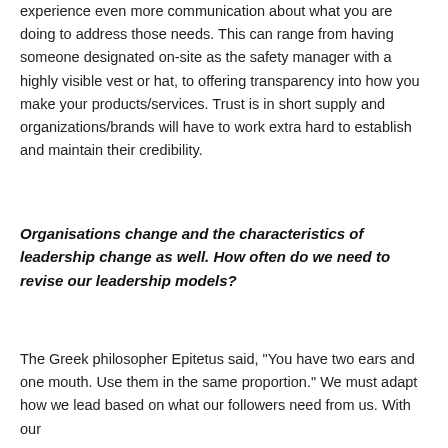experience even more communication about what you are doing to address those needs. This can range from having someone designated on-site as the safety manager with a highly visible vest or hat, to offering transparency into how you make your products/services. Trust is in short supply and organizations/brands will have to work extra hard to establish and maintain their credibility.
Organisations change and the characteristics of leadership change as well. How often do we need to revise our leadership models?
The Greek philosopher Epitetus said, "You have two ears and one mouth. Use them in the same proportion." We must adapt how we lead based on what our followers need from us. With our